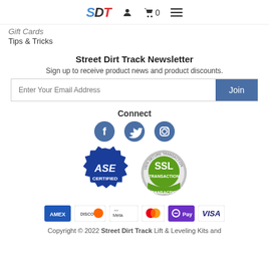[Figure (logo): SDT logo with navigation icons: person icon, cart with 0, hamburger menu]
Gift Cards
Tips & Tricks
Street Dirt Track Newsletter
Sign up to receive product news and product discounts.
Enter Your Email Address [input] Join [button]
Connect
[Figure (logo): Facebook, Twitter, Instagram social media circular icons in blue]
[Figure (logo): ASE Certified badge and 100% Secure Transaction SSL badge]
[Figure (logo): Payment method icons: AMEX, Discover, Meta, Mastercard, Pay, VISA]
Copyright © 2022 Street Dirt Track Lift & Leveling Kits and